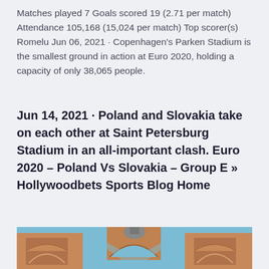Matches played 7 Goals scored 19 (2.71 per match) Attendance 105,168 (15,024 per match) Top scorer(s) Romelu Jun 06, 2021 · Copenhagen's Parken Stadium is the smallest ground in action at Euro 2020, holding a capacity of only 38,065 people.
Jun 14, 2021 · Poland and Slovakia take on each other at Saint Petersburg Stadium in an all-important clash. Euro 2020 – Poland Vs Slovakia – Group E » Hollywoodbets Sports Blog Home
[Figure (photo): Architectural photo looking up at ornate building facade with arched windows and blue sky, showing decorative stonework and angular roof lines forming a V shape.]